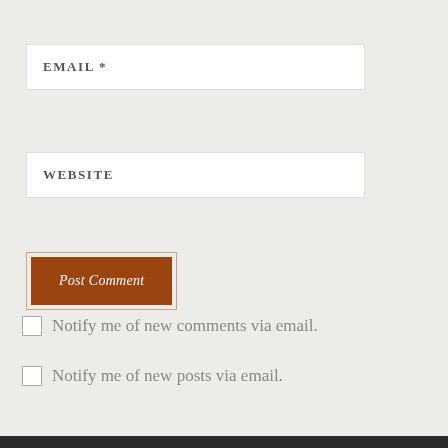EMAIL *
WEBSITE
Post Comment
Notify me of new comments via email.
Notify me of new posts via email.